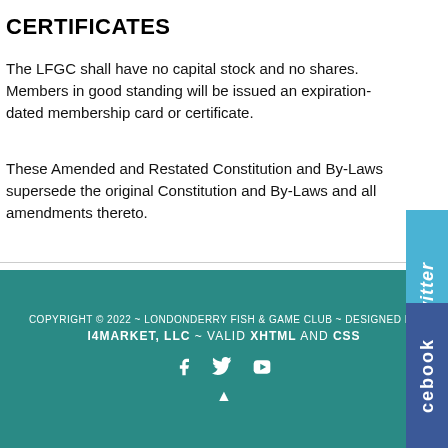CERTIFICATES
The LFGC shall have no capital stock and no shares. Members in good standing will be issued an expiration-dated membership card or certificate.
These Amended and Restated Constitution and By-Laws supersede the original Constitution and By-Laws and all amendments thereto.
[Figure (logo): Twitter social media tab on right side, teal/blue background with 'twitter' text in white italic rotated vertically]
COPYRIGHT © 2022 ~ LONDONDERRY FISH & GAME CLUB ~ DESIGNED BY I4MARKET, LLC ~ VALID XHTML AND CSS
[Figure (logo): Facebook social media tab on right side, dark blue background with 'cebook' text in white rotated vertically. Social media icons: Facebook f, Twitter bird, YouTube icon in white.]